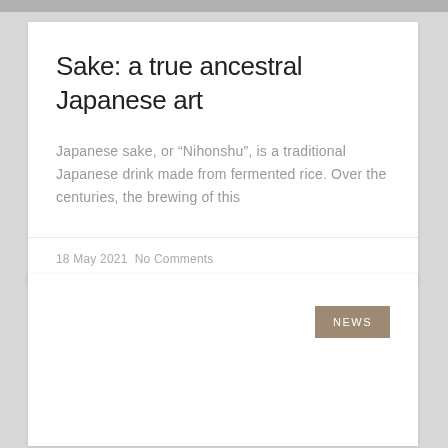Sake: a true ancestral Japanese art
Japanese sake, or “Nihonshu”, is a traditional Japanese drink made from fermented rice. Over the centuries, the brewing of this
18 May 2021 No Comments
[Figure (other): Second article card with a NEWS category badge in the upper right corner]